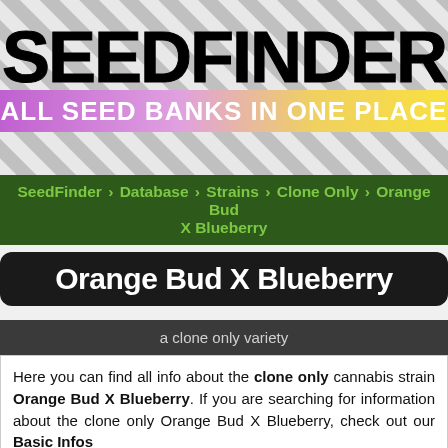[Figure (logo): SeedFinder logo with bold stylized text and chevron stripe pattern background. A purple-to-yellow gradient banner reads 'ALL SEED BANKS IN ONE PLACE' in white bold text.]
SeedFinder › Database › Strains › Clone Only › Orange Bud X Blueberry
Orange Bud X Blueberry
a clone only variety
Here you can find all info about the clone only cannabis strain Orange Bud X Blueberry. If you are searching for information about the clone only Orange Bud X Blueberry, check out our Basic Infos